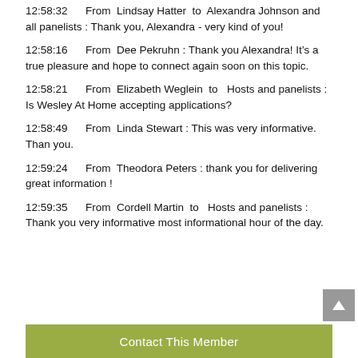12:58:32      From  Lindsay Hatter  to  Alexandra Johnson and all panelists : Thank you, Alexandra - very kind of you!
12:58:16      From  Dee Pekruhn : Thank you Alexandra! It’s a true pleasure and hope to connect again soon on this topic.
12:58:21      From  Elizabeth Weglein  to   Hosts and panelists : Is Wesley At Home accepting applications?
12:58:49      From  Linda Stewart : This was very informative.  Than you.
12:59:24      From  Theodora Peters : thank you for delivering great information !
12:59:35      From  Cordell Martin  to   Hosts and panelists : Thank you very informative most informational hour of the day.
Contact This Member